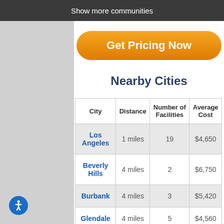Show more communities
Get Pricing Now
Nearby Cities
| City | Distance | Number of Facilities | Average Cost |
| --- | --- | --- | --- |
| Los Angeles | 1 miles | 19 | $4,650 |
| Beverly Hills | 4 miles | 2 | $6,750 |
| Burbank | 4 miles | 3 | $5,420 |
| Glendale | 4 miles | 5 | $4,560 |
| Toluca | 5 miles | 1 | N/A |